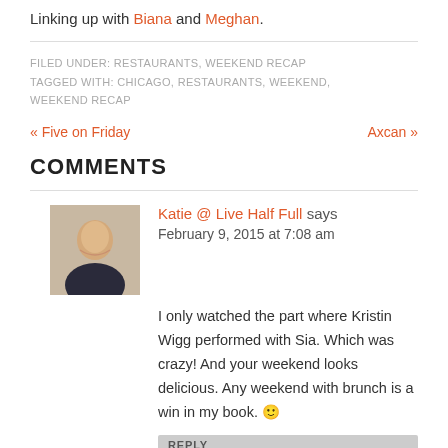Linking up with Biana and Meghan.
FILED UNDER: RESTAURANTS, WEEKEND RECAP
TAGGED WITH: CHICAGO, RESTAURANTS, WEEKEND, WEEKEND RECAP
« Five on Friday    Axcan »
COMMENTS
Katie @ Live Half Full says
February 9, 2015 at 7:08 am
I only watched the part where Kristin Wigg performed with Sia. Which was crazy! And your weekend looks delicious. Any weekend with brunch is a win in my book. 🙂